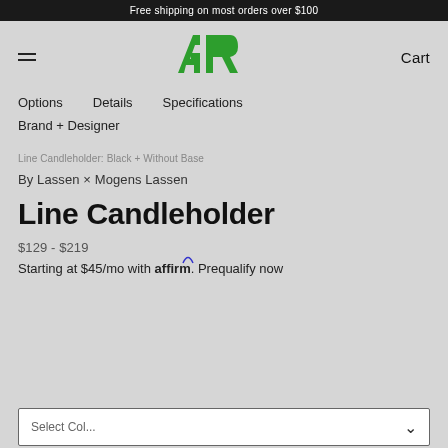Free shipping on most orders over $100
[Figure (logo): AER brand logo in green]
Options   Details   Specifications
Brand + Designer
Line Candleholder: Black + Without Base
By Lassen × Mogens Lassen
Line Candleholder
$129 - $219
Starting at $45/mo with affirm. Prequalify now